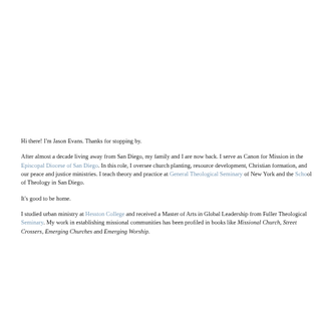Hi there! I'm Jason Evans. Thanks for stopping by.
After almost a decade living away from San Diego, my family and I are now back. I serve as Canon for Mission in the Episcopal Diocese of San Diego. In this role, I oversee church planting, resource development, Christian formation, and our peace and justice ministries. I teach theory and practice at General Theological Seminary of New York and the School of Theology in San Diego.
It's good to be home.
I studied urban ministry at Hesston College and received a Master of Arts in Global Leadership from Fuller Theological Seminary. My work in establishing missional communities has been profiled in books like Missional Church, Street Crossers, Emerging Churches and Emerging Worship.